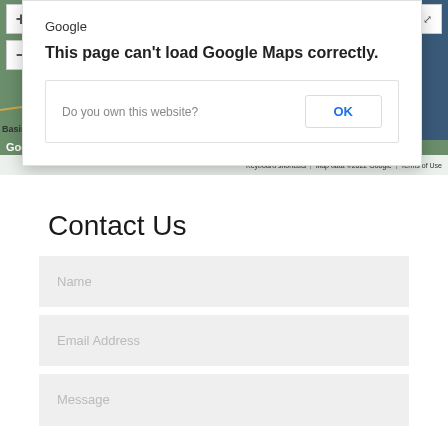[Figure (screenshot): Google Maps error dialog overlay on a map background showing 'This page can't load Google Maps correctly.' with a 'Do you own this website?' prompt and an OK button. Map shows terrain with Google branding and bottom bar with Keyboard shortcuts, Map data ©2022 Google, Terms of Use.]
Contact Us
Name
Email Address
Message